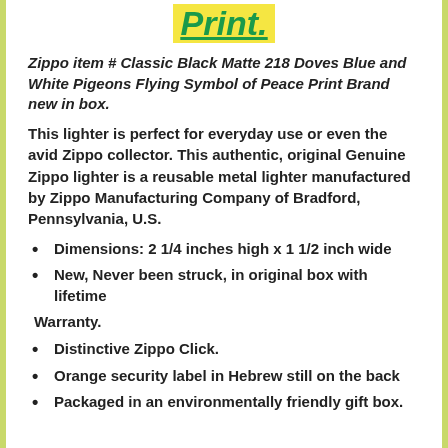[Figure (logo): Logo text reading 'Print.' in bold italic dark green font with yellow/gold background and underline]
Zippo item # Classic Black Matte 218 Doves Blue and White Pigeons Flying Symbol of Peace Print Brand new in box.
This lighter is perfect for everyday use or even the avid Zippo collector. This authentic, original Genuine Zippo lighter is a reusable metal lighter manufactured by Zippo Manufacturing Company of Bradford, Pennsylvania, U.S.
Dimensions: 2 1/4 inches high x 1 1/2 inch wide
New, Never been struck, in original box with lifetime
Warranty.
Distinctive Zippo Click.
Orange security label in Hebrew still on the back
Packaged in an environmentally friendly gift box.